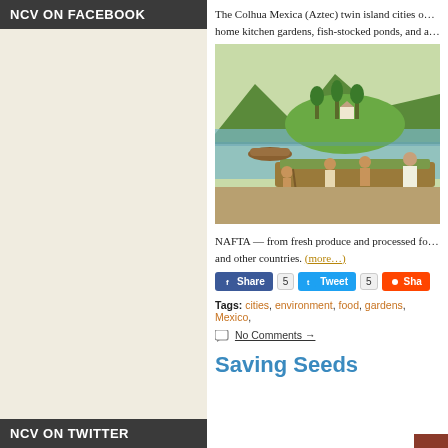NCV ON FACEBOOK
The Colhua Mexica (Aztec) twin island cities o… home kitchen gardens, fish-stocked ponds, and a…
[Figure (illustration): Mural-style painting showing indigenous people farming chinampas (floating gardens) on a lake, with mountains and trees in the background.]
NAFTA — from fresh produce and processed fo… and other countries. (more…)
Share 5  Tweet 5  Sha…
Tags: cities, environment, food, gardens, Mexico,
No Comments →
Saving Seeds
NCV ON TWITTER